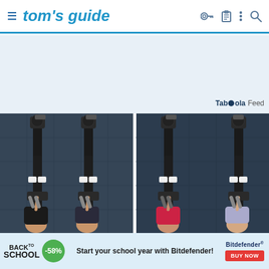tom's guide
[Figure (photo): Advertisement banner area with light blue background]
Taboola Feed
[Figure (photo): Two side-by-side aerial view photos of people using rowing machines on a dark rubber mat gym floor]
[Figure (photo): Bottom advertisement: Back to School -58% discount, Start your school year with Bitdefender! BUY NOW button]